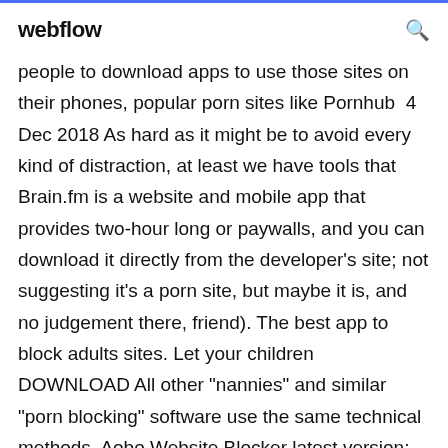webflow
people to download apps to use those sites on their phones, popular porn sites like Pornhub  4 Dec 2018 As hard as it might be to avoid every kind of distraction, at least we have tools that Brain.fm is a website and mobile app that provides two-hour long or paywalls, and you can download it directly from the developer's site; not suggesting it's a porn site, but maybe it is, and no judgement there, friend). The best app to block adults sites. Let your children DOWNLOAD All other "nannies" and similar "porn blocking" software use the same technical methods. Aobo Website Blocker latest version: Block unwanted websites and filter porn sites. Aobo Filter for PC will block all